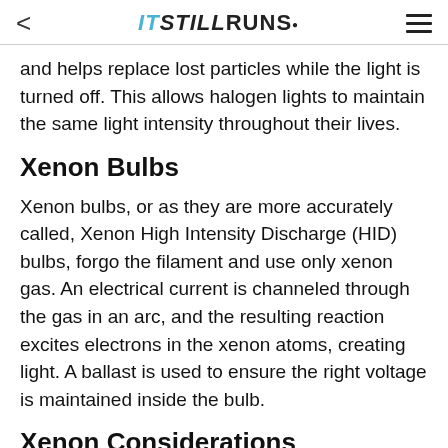IT STILL RUNS.
and helps replace lost particles while the light is turned off. This allows halogen lights to maintain the same light intensity throughout their lives.
Xenon Bulbs
Xenon bulbs, or as they are more accurately called, Xenon High Intensity Discharge (HID) bulbs, forgo the filament and use only xenon gas. An electrical current is channeled through the gas in an arc, and the resulting reaction excites electrons in the xenon atoms, creating light. A ballast is used to ensure the right voltage is maintained inside the bulb.
Xenon Considerations